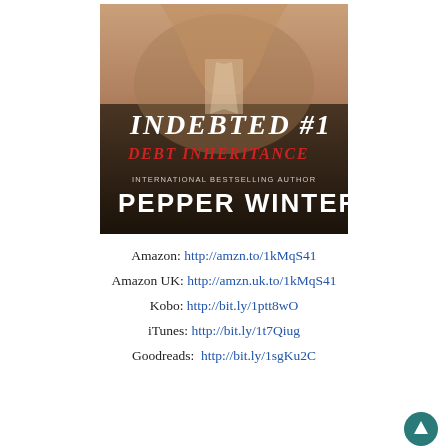[Figure (illustration): Book cover for 'Indebted #1: Debt Inheritance' by Pepper Winters. Shows a muscular torso with hands gripping a collar or tie. Title text 'INDEBTED #1' in large white serif capitals, 'DEBT INHERITANCE' in red serif capitals below. 'INTERNATIONAL BESTSELLING AUTHOR' in small white caps above 'PEPPER WINTERS' in large white capitals.]
Amazon: http://amzn.to/1kMqS41
Amazon UK: http://amzn.uk.to/1kMqS41
Kobo: http://bit.ly/1ptt8wO
iTunes: http://bit.ly/1t7Qiug
Goodreads:  http://bit.ly/1sgKu2C